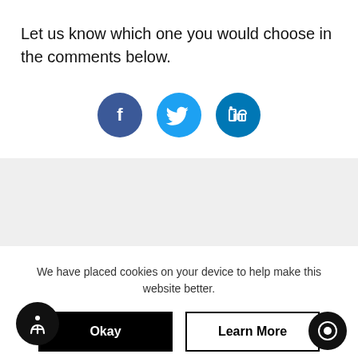Let us know which one you would choose in the comments below.
[Figure (other): Social share buttons: Facebook, Twitter, LinkedIn]
[Figure (other): Grey banner/separator bar]
We have placed cookies on your device to help make this website better.
[Figure (other): Okay button (black) and Learn More button (outline)]
[Figure (other): Accessibility icon button (bottom left) and chat icon button (bottom right)]